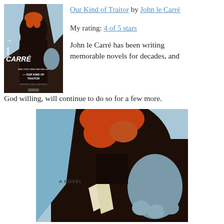[Figure (illustration): Book cover of 'Our Kind of Traitor' by John le Carré showing a dark stylized figure with orange and teal elements]
Our Kind of Traitor by John le Carré
My rating: 4 of 5 stars
John le Carré has been writing memorable novels for decades, and God willing, will continue to do so for a few more.
[Figure (illustration): Large cropped image of the same book cover art showing a close-up of the stylized dark figure with orange beard/hair and a teal hand, on a light blue background with 'A NOVEL' text visible]